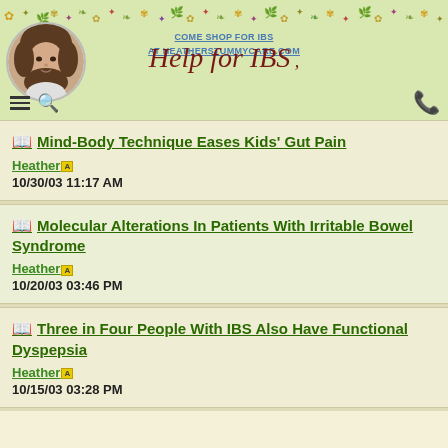COME SHOP FOR IBS AT HEATHERSTUMMYCARE.COM
[Figure (photo): Circular portrait photo of a woman with curly brown hair]
[Figure (logo): Help for IBS cursive logo in dark red]
Mind-Body Technique Eases Kids' Gut Pain
Heather [admin]
10/30/03 11:17 AM
Molecular Alterations In Patients With Irritable Bowel Syndrome
Heather [admin]
10/20/03 03:46 PM
Three in Four People With IBS Also Have Functional Dyspepsia
Heather [admin]
10/15/03 03:28 PM